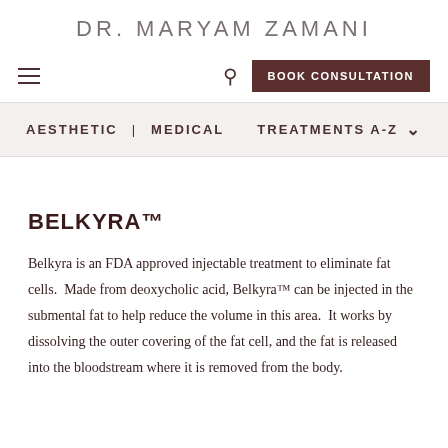DR. MARYAM ZAMANI
BELKYRA™
Belkyra is an FDA approved injectable treatment to eliminate fat cells.  Made from deoxycholic acid, Belkyra™ can be injected in the submental fat to help reduce the volume in this area.  It works by dissolving the outer covering of the fat cell, and the fat is released into the bloodstream where it is removed from the body.